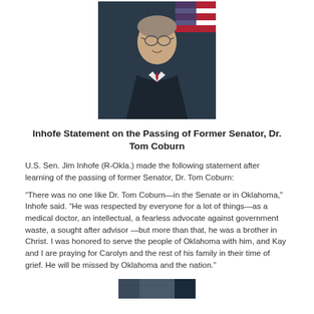[Figure (photo): Official portrait photo of Senator Jim Inhofe in a dark suit and red tie, with an American flag in the background]
Inhofe Statement on the Passing of Former Senator, Dr. Tom Coburn
U.S. Sen. Jim Inhofe (R-Okla.) made the following statement after learning of the passing of former Senator, Dr. Tom Coburn:
“There was no one like Dr. Tom Coburn—in the Senate or in Oklahoma,” Inhofe said. “He was respected by everyone for a lot of things—as a medical doctor, an intellectual, a fearless advocate against government waste, a sought after advisor —but more than that, he was a brother in Christ. I was honored to serve the people of Oklahoma with him, and Kay and I are praying for Carolyn and the rest of his family in their time of grief. He will be missed by Oklahoma and the nation.”
[Figure (photo): Partial photo visible at bottom of page]